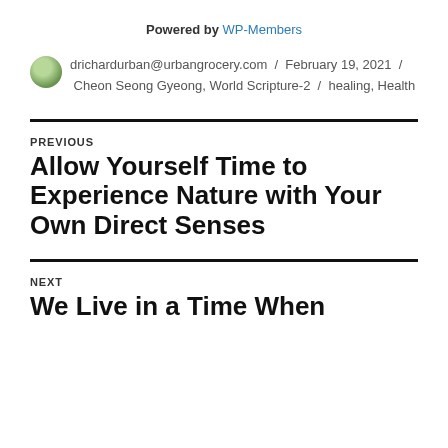Powered by WP-Members
drichardurban@urbangrocery.com / February 19, 2021 / Cheon Seong Gyeong, World Scripture-2 / healing, Health
PREVIOUS
Allow Yourself Time to Experience Nature with Your Own Direct Senses
NEXT
We Live in a Time When